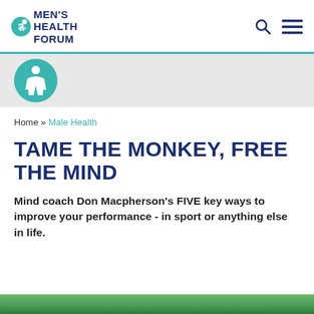MEN'S HEALTH FORUM
[Figure (logo): Men's Health Forum logo with globe icon and text MEN'S HEALTH FORUM in dark navy]
Home » Male Health
TAME THE MONKEY, FREE THE MIND
Mind coach Don Macpherson's FIVE key ways to improve your performance - in sport or anything else in life.